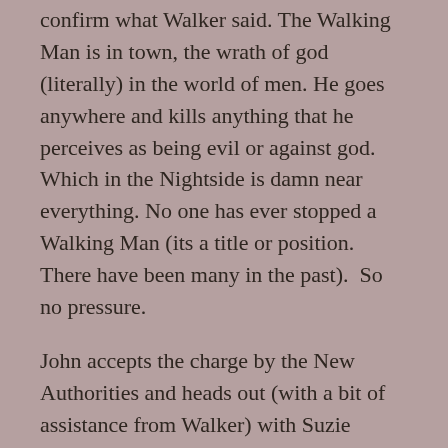confirm what Walker said. The Walking Man is in town, the wrath of god (literally) in the world of men. He goes anywhere and kills anything that he perceives as being evil or against god. Which in the Nightside is damn near everything. No one has ever stopped a Walking Man (its a title or position. There have been many in the past). So no pressure.
John accepts the charge by the New Authorities and heads out (with a bit of assistance from Walker) with Suzie Shooter and new character Chandra Singh (holy warrior and monster hunter extraordinaire from India) to a place called Precious Memories. This is the place where John found the Walking Man with his gift. And they are utterly appalled by the complete carnage they find. No one survived. And they don't know why. All John and Suzie know about this place is